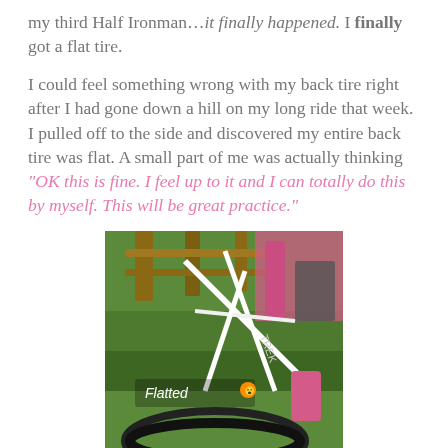my third Half Ironman…it finally happened. I finally got a flat tire.
I could feel something wrong with my back tire right after I had gone down a hill on my long ride that week. I pulled off to the side and discovered my entire back tire was flat. A small part of me was actually thinking "OK this is fine. I feel up to it and I can totally do this by myself. This will be great practice."
[Figure (photo): Photo of a white road bicycle leaning against a wooden fence on green grass. The bike has pink accents. Text overlay reads 'Flatted' with an orange emoji.]